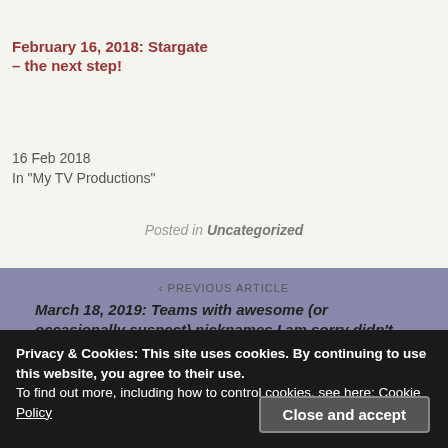[Figure (photo): Partial view of a person in dark clothing, cropped photo strip at top]
February 16, 2018: Stargate – the next step!
16 Feb 2018
In "My TV Productions"
Posted in Uncategorized
‹ PREVIOUS ARTICLE
March 18, 2019: Teams with awesome (or occasionally suspect) nicknames I am sorry didn't make the NCAA
Privacy & Cookies: This site uses cookies. By continuing to use this website, you agree to their use.
To find out more, including how to control cookies, see here: Cookie Policy